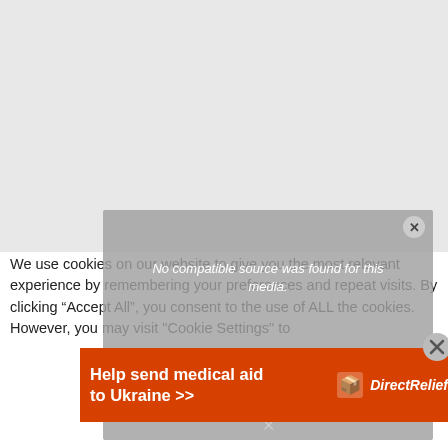[Figure (screenshot): Gray video placeholder area at top of page, showing a media player modal overlay with 'No compatible source was found for this media.' message and a sub-question 'How do you know if your partner is cheating?']
We use cookies on our website to give you the most relevant experience by remembering your preferences and repeat visits. By clicking “Accept All”, you consent to the use of ALL the cookies. However, you may visit "Cookie Settings" to
[Figure (infographic): Orange advertisement banner: 'Help send medical aid to Ukraine >>' with Direct Relief logo and a close X button]